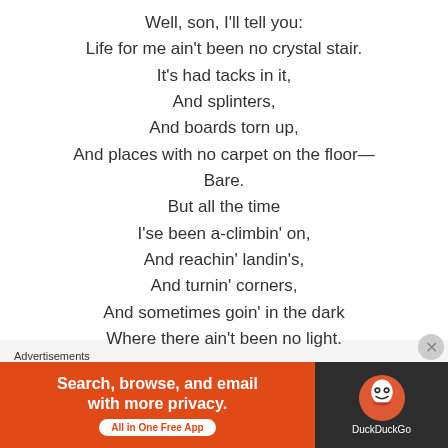Well, son, I'll tell you:
Life for me ain't been no crystal stair.
It's had tacks in it,
And splinters,
And boards torn up,
And places with no carpet on the floor—
Bare.
But all the time
I'se been a-climbin' on,
And reachin' landin's,
And turnin' corners,
And sometimes goin' in the dark
Where there ain't been no light.
Advertisements